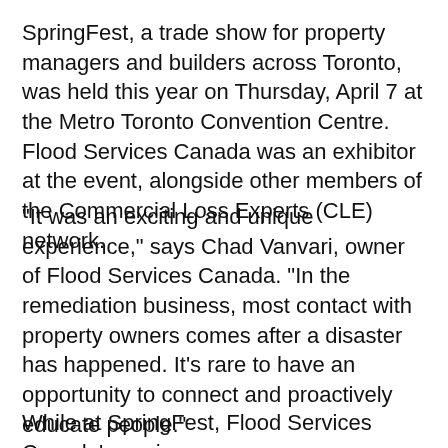SpringFest, a trade show for property managers and builders across Toronto, was held this year on Thursday, April 7 at the Metro Toronto Convention Centre. Flood Services Canada was an exhibitor at the event, alongside other members of the Commercial Loss Experts (CLE) network.
"It was an exciting and unique experience," says Chad Vanvari, owner of Flood Services Canada. "In the remediation business, most contact with property owners comes after a disaster has happened. It's rare to have an opportunity to connect and proactively educate people."
While at SpringFest, Flood Services Canada's senior